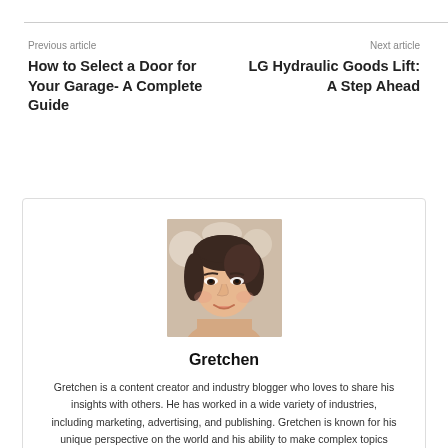Previous article
Next article
How to Select a Door for Your Garage- A Complete Guide
LG Hydraulic Goods Lift: A Step Ahead
[Figure (photo): Portrait photo of Gretchen, a woman with dark hair, smiling, with a blurred background]
Gretchen
Gretchen is a content creator and industry blogger who loves to share his insights with others. He has worked in a wide variety of industries, including marketing, advertising, and publishing. Gretchen is known for his unique perspective on the world and his ability to make complex topics easy to understand.